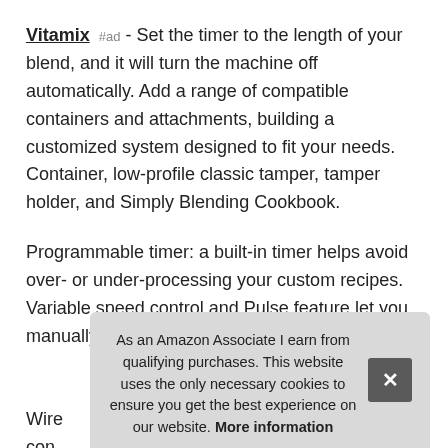Vitamix #ad - Set the timer to the length of your blend, and it will turn the machine off automatically. Add a range of compatible containers and attachments, building a customized system designed to fit your needs. Container, low-profile classic tamper, tamper holder, and Simply Blending Cookbook.
Programmable timer: a built-in timer helps avoid over- or under-processing your custom recipes. Variable speed control and Pulse feature let you manually fine-tune the texture of any recipe.
More information #ad
Wire... con... max... give the machine a sleek silhouette and are easily wiped clean.
As an Amazon Associate I earn from qualifying purchases. This website uses the only necessary cookies to ensure you get the best experience on our website. More information